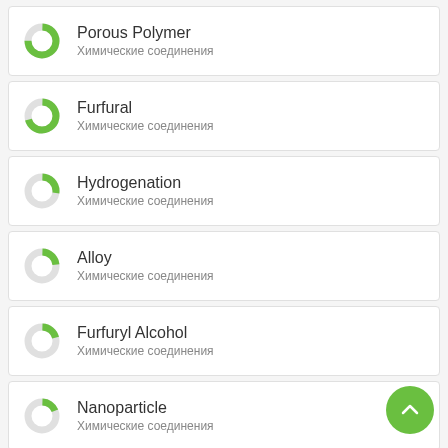Porous Polymer
Химические соединения
Furfural
Химические соединения
Hydrogenation
Химические соединения
Alloy
Химические соединения
Furfuryl Alcohol
Химические соединения
Nanoparticle
Химические соединения
Catalyst
Химические соединения